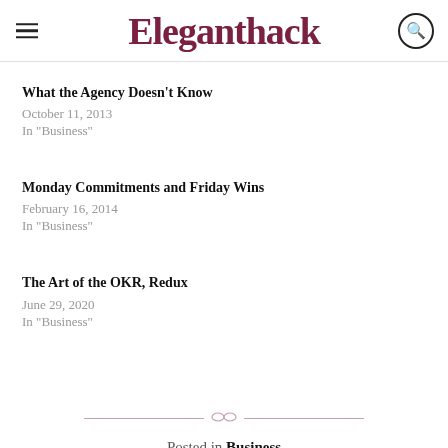Eleganthack
What the Agency Doesn't Know
October 11, 2013
In "Business"
Monday Commitments and Friday Wins
February 16, 2014
In "Business"
The Art of the OKR, Redux
June 29, 2020
In "Business"
Posted in Business